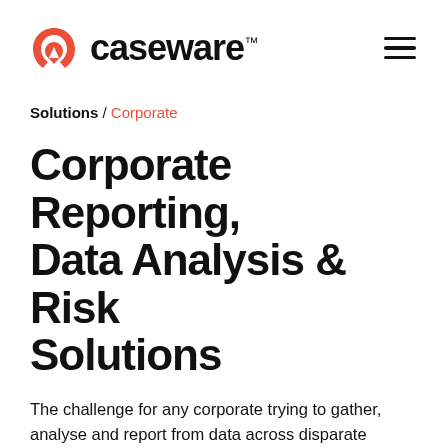[Figure (logo): Caseware logo with red chevron/arrow icon and dark wordmark 'caseware.' with trademark symbol]
Solutions / Corporate
Corporate Reporting, Data Analysis & Risk Solutions
The challenge for any corporate trying to gather, analyse and report from data across disparate departments and systems is significant and likely to be error-prone. Caseware's software solutions for corporations can assist with this and other challenges.